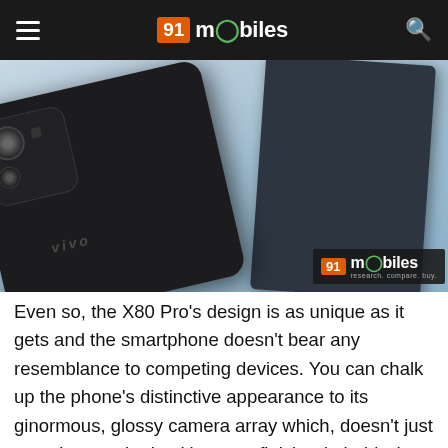91 mobiles
[Figure (photo): Back of a vivo X80 Pro smartphone with large camera module, placed on a light blue surface next to a dark object, with 91mobiles watermark in the lower right corner.]
Even so, the X80 Pro’s design is as unique as it gets and the smartphone doesn’t bear any resemblance to competing devices. You can chalk up the phone’s distinctive appearance to its ginormous, glossy camera array which, doesn’t just complement the back’s matte finish admirably, but it also captivates the audience, should it meet their gaze. Now, in all fairness, the smartphone’s misaligned